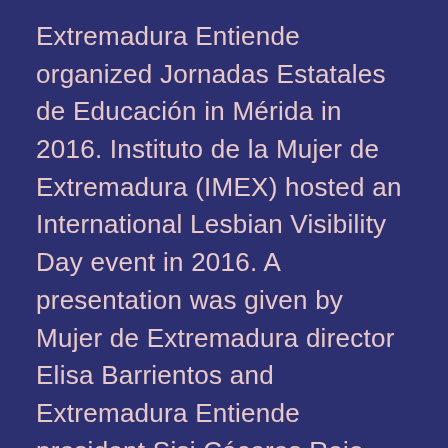Extremadura Entiende organized Jornadas Estatales de Educación in Mérida in 2016. Instituto de la Mujer de Extremadura (IMEX) hosted an International Lesbian Visibility Day event in 2016. A presentation was given by Mujer de Extremadura director Elisa Barrientos and Extremadura Entiende president Sisi Cáceres Rojo ahead of a planned jornada associated with the day in Casar de Cáceres the following day. In 2017, at the request of Extremadura Entiende, Instituto de la Mujer de Extremadura starts institutionally celebrating International